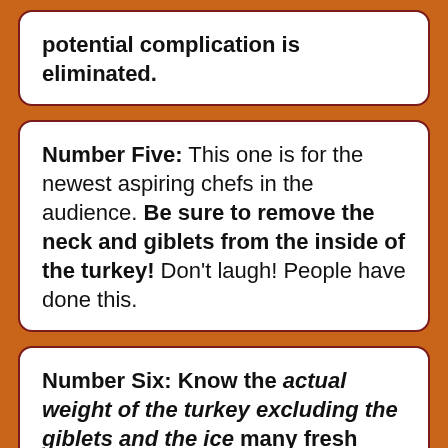potential complication is eliminated.
Number Five: This one is for the newest aspiring chefs in the audience. Be sure to remove the neck and giblets from the inside of the turkey! Don't laugh! People have done this.
Number Six: Know the actual weight of the turkey excluding the giblets and the ice many fresh turkeys have stuffed inside to keep them cold. Yes, sometimes you pay for a couple